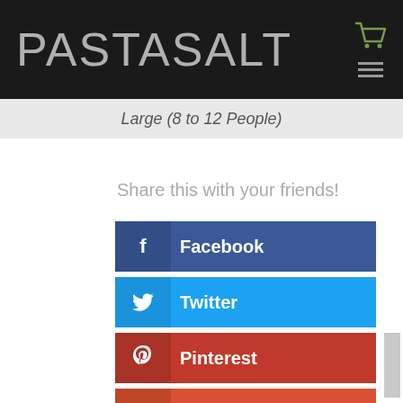PASTASALT
Large (8 to 12 People)
×
Share this with your friends!
Facebook
Twitter
Pinterest
Gmail
...